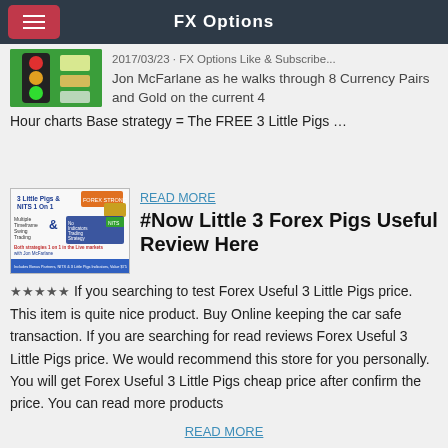FX Options
Jon McFarlane as he walks through 8 Currency Pairs and Gold on the current 4 Hour charts Base strategy = The FREE 3 Little Pigs …
READ MORE
#Now Little 3 Forex Pigs Useful Review Here
★★★★★ If you searching to test Forex Useful 3 Little Pigs price. This item is quite nice product. Buy Online keeping the car safe transaction. If you are searching for read reviews Forex Useful 3 Little Pigs price. We would recommend this store for you personally. You will get Forex Useful 3 Little Pigs cheap price after confirm the price. You can read more products
READ MORE